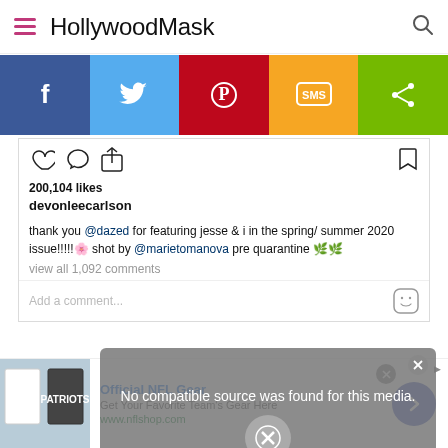HollywoodMask
[Figure (screenshot): Social sharing bar with Facebook, Twitter, Pinterest, SMS, and Share buttons]
[Figure (screenshot): Instagram post showing 200,104 likes from devonleecarlson with caption thanking @dazed for featuring in spring/summer 2020 issue, shot by @marietomanova pre quarantine, with view all 1,092 comments and add a comment field]
[Figure (screenshot): Video error overlay reading: No compatible source was found for this media.]
[Figure (screenshot): Advertisement for Official NFL Gear - Get Your Favorite Team's Gear Here, www.nflshop.com]